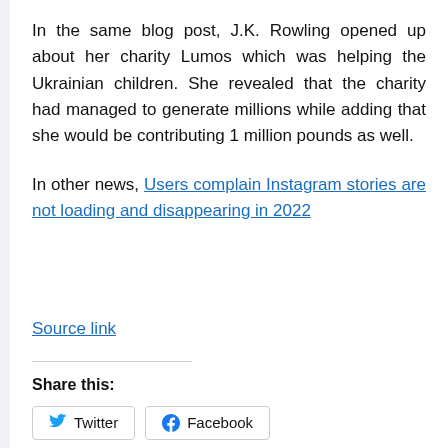In the same blog post, J.K. Rowling opened up about her charity Lumos which was helping the Ukrainian children. She revealed that the charity had managed to generate millions while adding that she would be contributing 1 million pounds as well.
In other news, Users complain Instagram stories are not loading and disappearing in 2022
Source link
Share this:
Twitter  Facebook